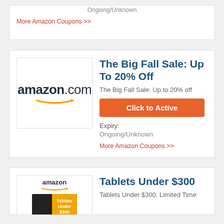Ongoing/Unknown
More Amazon Coupons >>
[Figure (logo): Amazon.com logo with orange arrow]
The Big Fall Sale: Up To 20% Off
The Big Fall Sale: Up to 20% off
Click to Active
Expiry:
Ongoing/Unknown
More Amazon Coupons >>
[Figure (photo): Amazon tablet ad showing Tablets Under $300 promotion]
Tablets Under $300
Tablets Under $300. Limited Time